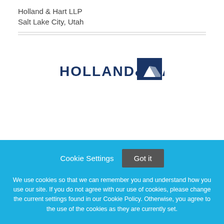Holland & Hart LLP
Salt Lake City, Utah
[Figure (logo): Holland & Hart logo with blue square mountain graphic and text 'HOLLAND & HART.' in navy blue]
Cookie Settings
Got it
We use cookies so that we can remember you and understand how you use our site. If you do not agree with our use of cookies, please change the current settings found in our Cookie Policy. Otherwise, you agree to the use of the cookies as they are currently set.